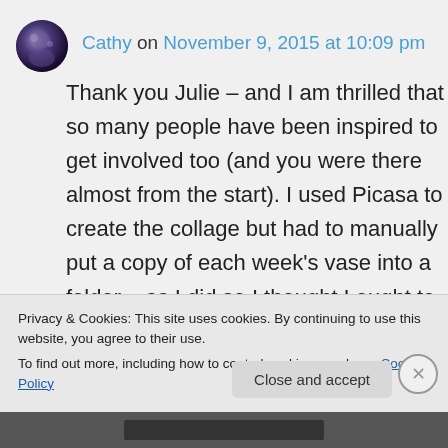[Figure (photo): Round avatar image with dark purple/blue tones, resembling a user profile picture]
Cathy on November 9, 2015 at 10:09 pm
Thank you Julie – and I am thrilled that so many people have been inspired to get involved too (and you were there almost from the start). I used Picasa to create the collage but had to manually put a copy of each week's vase into a folder – as I did so I thought I ought to make it easier for myself and add a copy to a folder week by week, ready for the 3rd anniversary! Look
Privacy & Cookies: This site uses cookies. By continuing to use this website, you agree to their use.
To find out more, including how to control cookies, see here: Cookie Policy
Close and accept